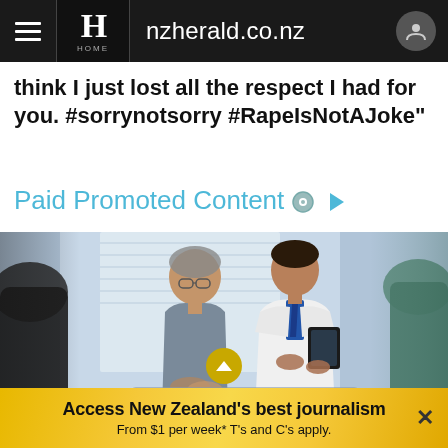nzherald.co.nz
think I just lost all the respect I had for you. #sorrynotsorry #RapeIsNotAJoke"
Paid Promoted Content
[Figure (photo): A doctor in a white coat holding a tablet and talking with a patient, with another person visible in the foreground.]
Access New Zealand's best journalism From $1 per week* T's and C's apply.